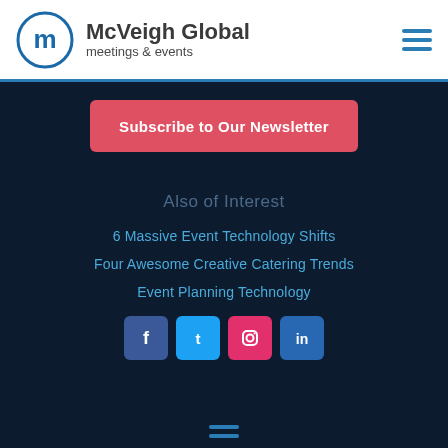[Figure (logo): McVeigh Global meetings & events logo with circular M icon in blue]
Subscribe to Our Newsletter
Also of Interest
6 Massive Event Technology Shifts
Four Awesome Creative Catering Trends
Event Planning Technology
[Figure (infographic): Social media icons: Facebook, Twitter, Instagram, LinkedIn]